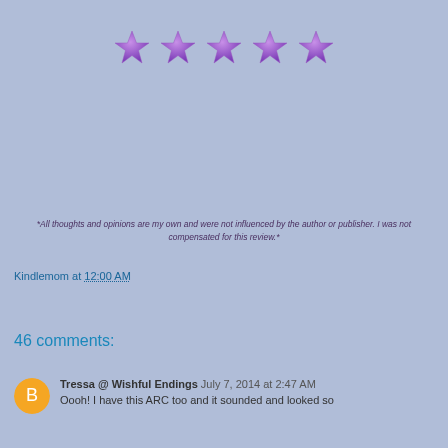[Figure (illustration): Five purple star rating icons in a row]
*All thoughts and opinions are my own and were not influenced by the author or publisher. I was not compensated for this review.*
Kindlemom at 12:00 AM
Share
46 comments:
Tressa @ Wishful Endings July 7, 2014 at 2:47 AM
Oooh! I have this ARC too and it sounded and looked so